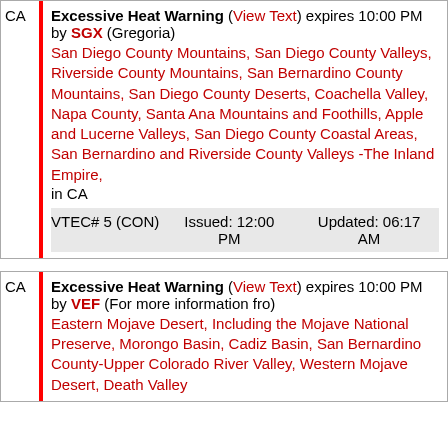CA | Excessive Heat Warning (View Text) expires 10:00 PM by SGX (Gregoria) San Diego County Mountains, San Diego County Valleys, Riverside County Mountains, San Bernardino County Mountains, San Diego County Deserts, Coachella Valley, Napa County, Santa Ana Mountains and Foothills, Apple and Lucerne Valleys, San Diego County Coastal Areas, San Bernardino and Riverside County Valleys -The Inland Empire, in CA VTEC# 5 (CON) Issued: 12:00 PM Updated: 06:17 AM
CA | Excessive Heat Warning (View Text) expires 10:00 PM by VEF (For more information fro) Eastern Mojave Desert, Including the Mojave National Preserve, Morongo Basin, Cadiz Basin, San Bernardino County-Upper Colorado River Valley, Western Mojave Desert, Death Valley